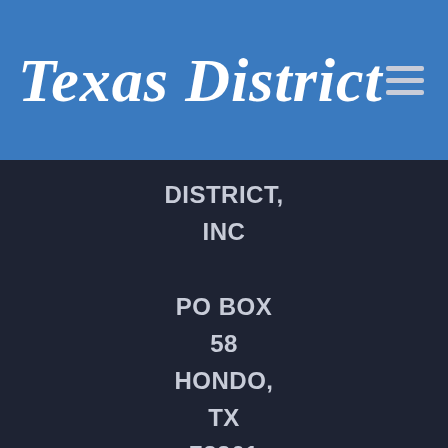Texas District
DISTRICT, INC PO BOX 58 HONDO, TX 78861 512-942-7776
Mobile Site